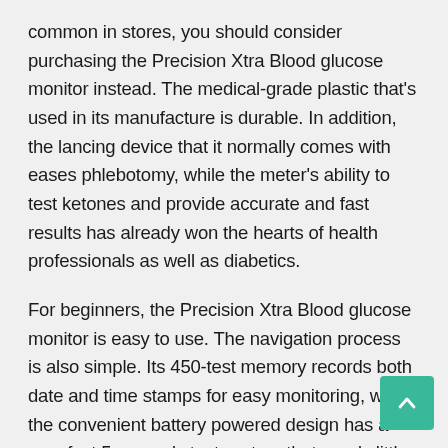common in stores, you should consider purchasing the Precision Xtra Blood glucose monitor instead. The medical-grade plastic that's used in its manufacture is durable. In addition, the lancing device that it normally comes with eases phlebotomy, while the meter's ability to test ketones and provide accurate and fast results has already won the hearts of health professionals as well as diabetics.
For beginners, the Precision Xtra Blood glucose monitor is easy to use. The navigation process is also simple. Its 450-test memory records both date and time stamps for easy monitoring, while the convenient battery powered design has a very fast 5-seconds test system that needs little as 0.6ml of blood.